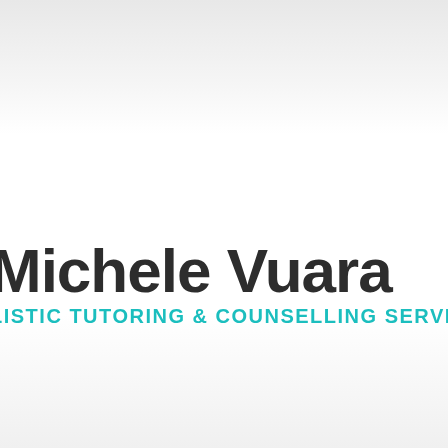[Figure (logo): Michele Vuara Holistic Tutoring & Counselling Services logo. Large bold dark text 'Michele Vuara' with teal uppercase text 'LISTIC TUTORING & COUNSELLING SERVI' (partially cropped) below.]